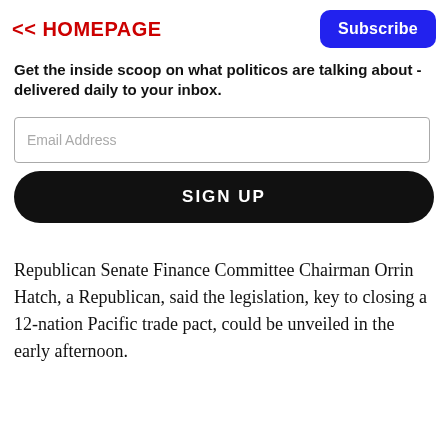<< HOMEPAGE
Get the inside scoop on what politicos are talking about - delivered daily to your inbox.
Email Address
SIGN UP
Republican Senate Finance Committee Chairman Orrin Hatch, a Republican, said the legislation, key to closing a 12-nation Pacific trade pact, could be unveiled in the early afternoon.